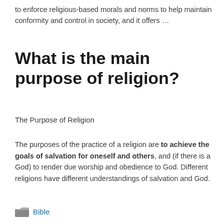to enforce religious-based morals and norms to help maintain conformity and control in society, and it offers …
What is the main purpose of religion?
The Purpose of Religion
The purposes of the practice of a religion are to achieve the goals of salvation for oneself and others, and (if there is a God) to render due worship and obedience to God. Different religions have different understandings of salvation and God.
Bible